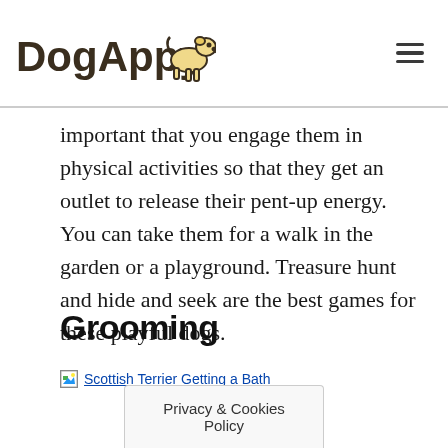DogAppy
important that you engage them in physical activities so that they get an outlet to release their pent-up energy. You can take them for a walk in the garden or a playground. Treasure hunt and hide and seek are the best games for these playful dogs.
Grooming
[Figure (photo): Broken image placeholder link labeled 'Scottish Terrier Getting a Bath']
Privacy & Cookies Policy